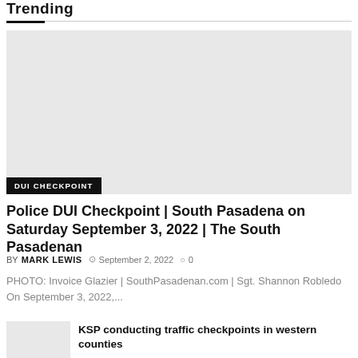Trending
[Figure (photo): Gray placeholder image for DUI checkpoint article with a black 'DUI CHECKPOINT' badge at bottom left]
Police DUI Checkpoint | South Pasadena on Saturday September 3, 2022 | The South Pasadenan
BY MARK LEWIS  © September 2, 2022  ○ 0
PHOTO: Invoice Glazier | SouthPasadenan.com | Sgt. Shannon Robledo On September 3, 2022,...
KSP conducting traffic checkpoints in western counties